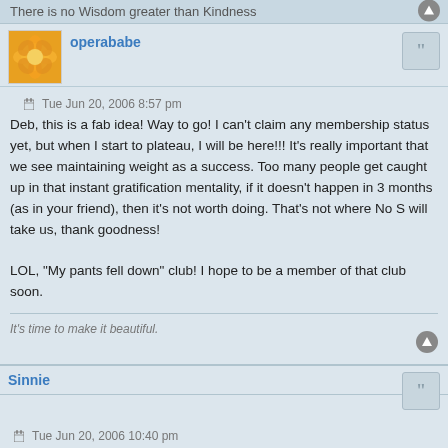There is no Wisdom greater than Kindness
operababe
Tue Jun 20, 2006 8:57 pm
Deb, this is a fab idea! Way to go! I can't claim any membership status yet, but when I start to plateau, I will be here!!! It's really important that we see maintaining weight as a success. Too many people get caught up in that instant gratification mentality, if it doesn't happen in 3 months (as in your friend), then it's not worth doing. That's not where No S will take us, thank goodness!

LOL, "My pants fell down" club! I hope to be a member of that club soon.
It's time to make it beautiful.
Sinnie
Tue Jun 20, 2006 10:40 pm